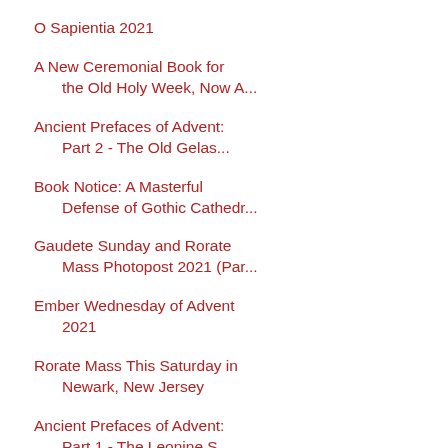O Sapientia 2021
A New Ceremonial Book for the Old Holy Week, Now A...
Ancient Prefaces of Advent: Part 2 - The Old Gelas...
Book Notice: A Masterful Defense of Gothic Cathedr...
Gaudete Sunday and Rorate Mass Photopost 2021 (Par...
Ember Wednesday of Advent 2021
Rorate Mass This Saturday in Newark, New Jersey
Ancient Prefaces of Advent: Part 1 - The Leonine S...
Support Summer Program for a K-12 Catholic School ...
Organic Development as a